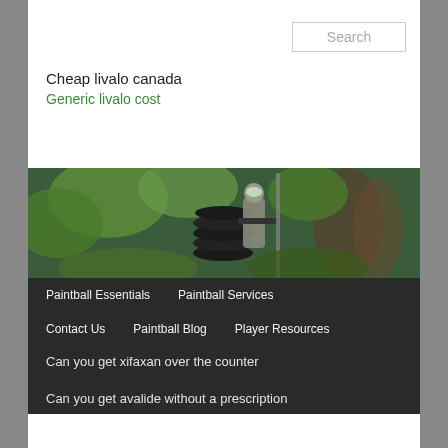Search
Cheap livalo canada
Generic livalo cost
[Figure (photo): Paintball player in full gear with goggles and camouflage, crouching behind a stack of black tires in a green forest setting]
Paintball Essentials
Paintball Services
Contact Us
Paintball Blog
Player Resources
Can you get xifaxan over the counter
Can you get avalide without a prescription